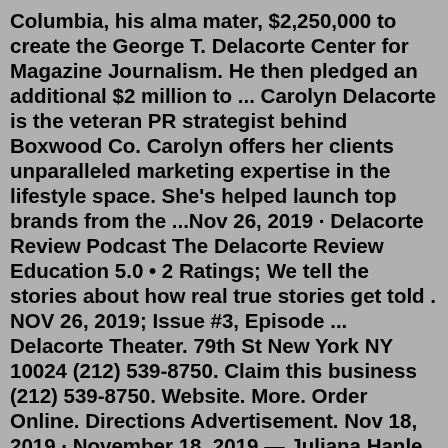Columbia, his alma mater, $2,250,000 to create the George T. Delacorte Center for Magazine Journalism. He then pledged an additional $2 million to ... Carolyn Delacorte is the veteran PR strategist behind Boxwood Co. Carolyn offers her clients unparalleled marketing expertise in the lifestyle space. She's helped launch top brands from the ...Nov 26, 2019 · Delacorte Review Podcast The Delacorte Review Education 5.0 • 2 Ratings; We tell the stories about how real true stories get told . NOV 26, 2019; Issue #3, Episode ... Delacorte Theater. 79th St New York NY 10024 (212) 539-8750. Claim this business (212) 539-8750. Website. More. Order Online. Directions Advertisement. Nov 18, 2019 · November 18, 2019 — Juliana Hanle and The Delacorte Review. Advertisement. Support Science Journalism. Discover world-changing science. Explore our digital archive back to 1845, including ... 56 reviews of Delacorte Theater "Summer home to The Public Theater's New York Shakespeare Festival, the Delacorte was built in 1962 as a temporary structure that remains to this